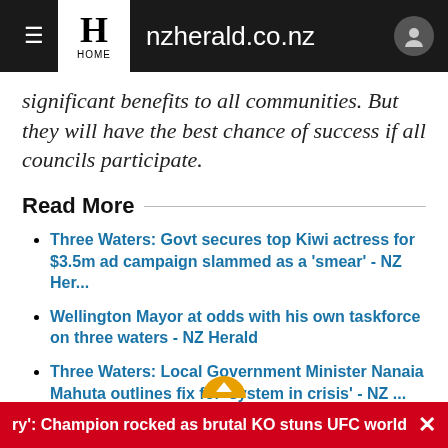nzherald.co.nz
significant benefits to all communities. But they will have the best chance of success if all councils participate.
Read More
Three Waters: Govt secures top Kiwi actress for $3.5m ad campaign slammed as a 'smear' - NZ Her...
Wellington Mayor at odds with his own taskforce on three waters - NZ Herald
Three Waters: Local Government Minister Nanaia Mahuta outlines fix for 'system in crisis' - NZ ...
Georgina Campbell: 'Three waters' battle between council
ry': Champion rocked as brutal KO stuns UFC world